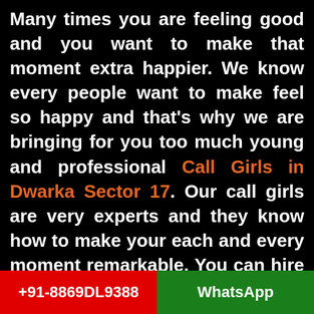Many times you are feeling good and you want to make that moment extra happier. We know every people want to make feel so happy and that's why we are bringing for you too much young and professional Call Girls in Dwarka Sector 17. Our call girls are very experts and they know how to make your each and every moment remarkable. You can hire our girls for your birthday party, alone trip, disco night, late-night party, bachelor party, and much more. In these all happier moments, they will show you how you can remember this for a long time. They are very attractive
+91-8869DL9388    WhatsApp